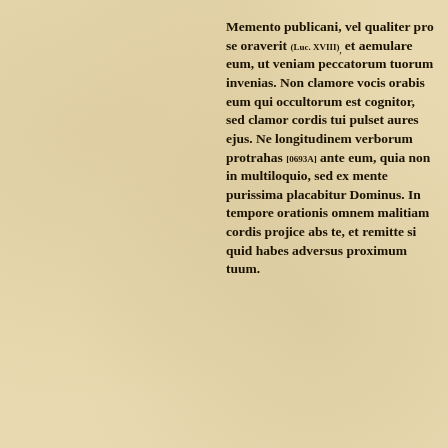Memento publicani, vel qualiter pro se oraverit (Luc. XVIII), et aemulare eum, ut veniam peccatorum tuorum invenias. Non clamore vocis orabis eum qui occultorum est cognitor, sed clamor cordis tui pulset aures ejus. Ne longitudinem verborum protrahas [0693A] ante eum, quia non in multiloquio, sed ex mente purissima placabitur Dominus. In tempore orationis omnem malitiam cordis projice abs te, et remitte si quid habes adversus proximum tuum.